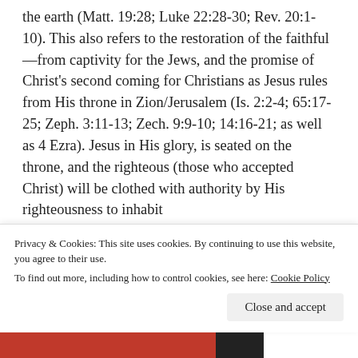the earth (Matt. 19:28; Luke 22:28-30; Rev. 20:1-10). This also refers to the restoration of the faithful—from captivity for the Jews, and the promise of Christ's second coming for Christians as Jesus rules from His throne in Zion/Jerusalem (Is. 2:2-4; 65:17-25; Zeph. 3:11-13; Zech. 9:9-10; 14:16-21; as well as 4 Ezra). Jesus in His glory, is seated on the throne, and the righteous (those who accepted Christ) will be clothed with authority by His righteousness to inhabit
Privacy & Cookies: This site uses cookies. By continuing to use this website, you agree to their use.
To find out more, including how to control cookies, see here: Cookie Policy
Close and accept